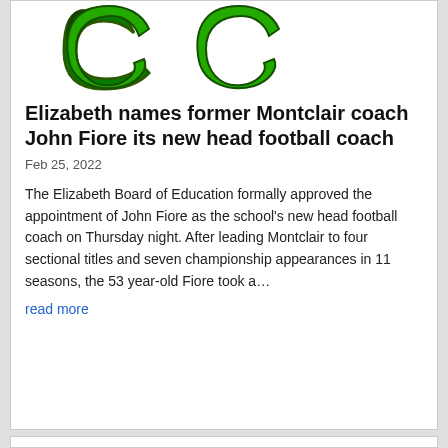[Figure (logo): Green stylized letter or logo mark (appears to be two curved green shapes resembling quotation marks or a stylized logo) on white background]
Elizabeth names former Montclair coach John Fiore its new head football coach
Feb 25, 2022
The Elizabeth Board of Education formally approved the appointment of John Fiore as the school's new head football coach on Thursday night. After leading Montclair to four sectional titles and seven championship appearances in 11 seasons, the 53 year-old Fiore took a…
read more